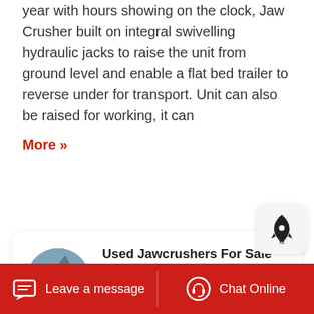year with hours showing on the clock, Jaw Crusher built on integral swivelling hydraulic jacks to raise the unit from ground level and enable a flat bed trailer to reverse under for transport. Unit can also be raised for working, it can
More »
[Figure (photo): Circular thumbnail photo of a mining site with machinery and rocky terrain in the background]
Used Jawcrushers For Sale Used Mining Processing
Crushers for Sale Buy and sell unused and used Crushers at IronPlanet. Whether looking for a
Leave a message   Chat Online